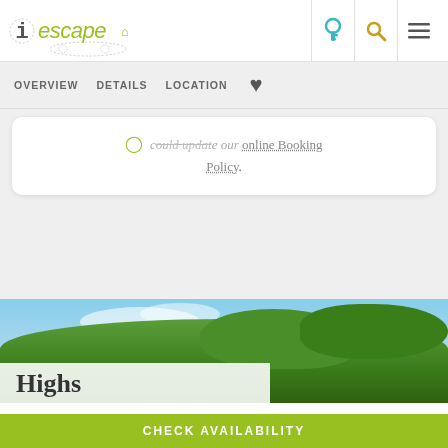iescape
OVERVIEW   DETAILS   LOCATION   ♥
… online Booking Policy.
[Figure (photo): Outdoor photo showing trees with green foliage against a blue sky, partially cloudy]
Highs
CHECK AVAILABILITY